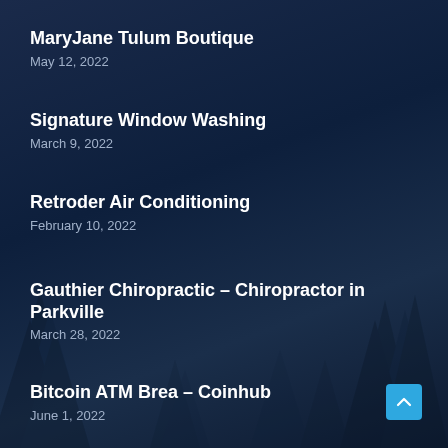MaryJane Tulum Boutique
May 12, 2022
Signature Window Washing
March 9, 2022
Retroder Air Conditioning
February 10, 2022
Gauthier Chiropractic – Chiropractor in Parkville
March 28, 2022
Bitcoin ATM Brea – Coinhub
June 1, 2022